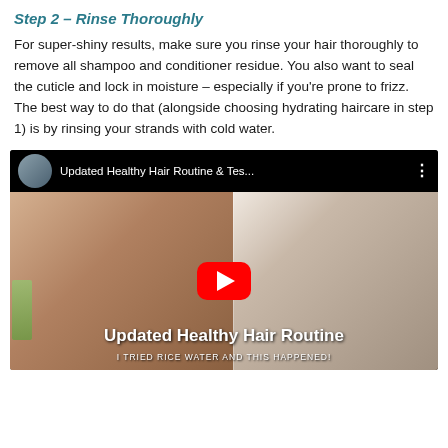Step 2 – Rinse Thoroughly
For super-shiny results, make sure you rinse your hair thoroughly to remove all shampoo and conditioner residue. You also want to seal the cuticle and lock in moisture – especially if you're prone to frizz. The best way to do that (alongside choosing hydrating haircare in step 1) is by rinsing your strands with cold water.
[Figure (screenshot): Embedded YouTube video thumbnail showing 'Updated Healthy Hair Routine & Tes...' with a split image of a woman facing camera on the left and a woman with long shiny straight hair from behind on the right. A red YouTube play button is in the center. The video title 'Updated Healthy Hair Routine' and subtitle 'I TRIED RICE WATER AND THIS HAPPENED!' appear at the bottom.]